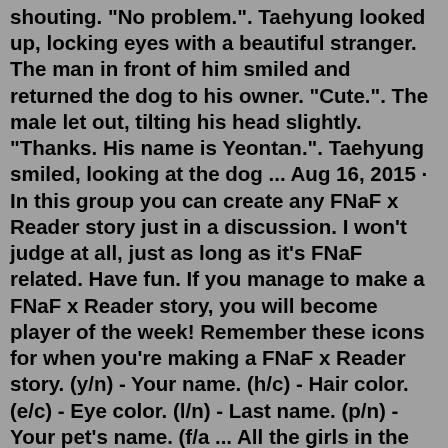shouting. "No problem.". Taehyung looked up, locking eyes with a beautiful stranger. The man in front of him smiled and returned the dog to his owner. "Cute.". The male let out, tilting his head slightly. "Thanks. His name is Yeontan.". Taehyung smiled, looking at the dog ... Aug 16, 2015 · In this group you can create any FNaF x Reader story just in a discussion. I won't judge at all, just as long as it's FNaF related. Have fun. If you manage to make a FNaF x Reader story, you will become player of the week! Remember these icons for when you're making a FNaF x Reader story. (y/n) - Your name. (h/c) - Hair color. (e/c) - Eye color. (l/n) - Last name. (p/n) - Your pet's name. (f/a ... All the girls in the village including the ppgz are going to be chosen for the vampire prince mate (the rrbz). The girls don't know each other yet . Will the girls be chosen to be the vampire mates. ... Third son of sparda Devil May Cry / Highschool dxd male reader. Y/n is the third brother of Dante and Vergil, Y/n though that his whole family